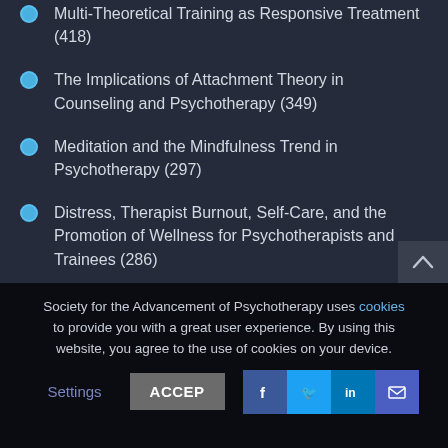Multi-Theoretical Training as Responsive Treatment (418)
The Implications of Attachment Theory in Counseling and Psychotherapy (349)
Meditation and the Mindfulness Trend in Psychotherapy (297)
Distress, Therapist Burnout, Self-Care, and the Promotion of Wellness for Psychotherapists and Trainees (286)
The Advocate (281)
A Flash of Academic Brilliance by a Late Bloomer (243)
Society for the Advancement of Psychotherapy uses cookies to provide you with a great user experience. By using this website, you agree to the use of cookies on your device.